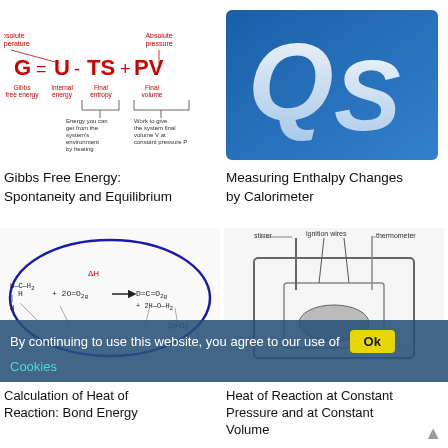[Figure (illustration): Gibbs Free Energy equation diagram: G = U - TS + PV with labeled components: Gibbs free energy, internal energy, final entropy, final volume, with annotations about energy from environment by heating and work to give system final volume at constant pressure.]
[Figure (logo): QS logo - blue background with white Q and S letters in stylized font]
Gibbs Free Energy: Spontaneity and Equilibrium
Measuring Enthalpy Changes by Calorimeter
[Figure (illustration): Chemical reaction diagram showing bond energy calculation: H-C-H2 + 2O=O2g → D=C=O2g + 2H-O-H2 with blue oval highlighting and arrow annotations]
[Figure (engineering-diagram): Calorimeter diagram showing cross-section with stirrer, thermometer, ignition wires, and internal components for measuring heat of reaction]
By continuing to use this website, you agree to our use of
Cookies
Calculation of Heat of Reaction: Bond Energy
Heat of Reaction at Constant Pressure and at Constant Volume